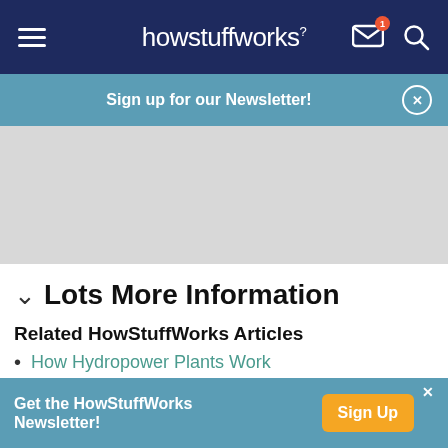howstuffworks
Sign up for our Newsletter!
[Figure (other): Gray advertisement placeholder block]
Lots More Information
Related HowStuffWorks Articles
How Hydropower Plants Work
How Composting Works
Get the HowStuffWorks Newsletter! Sign Up